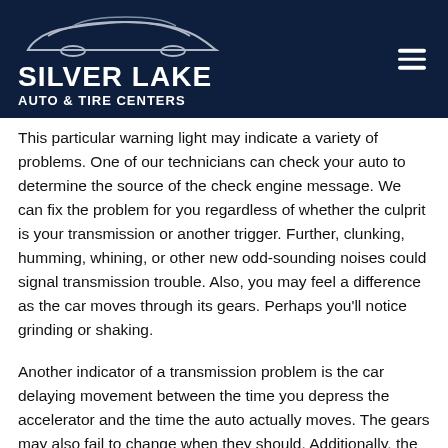[Figure (logo): Silver Lake Auto & Tire Centers logo with car silhouette on dark navy background, with hamburger menu icon]
This particular warning light may indicate a variety of problems. One of our technicians can check your auto to determine the source of the check engine message. We can fix the problem for you regardless of whether the culprit is your transmission or another trigger. Further, clunking, humming, whining, or other new odd-sounding noises could signal transmission trouble. Also, you may feel a difference as the car moves through its gears. Perhaps you'll notice grinding or shaking.
Another indicator of a transmission problem is the car delaying movement between the time you depress the accelerator and the time the auto actually moves. The gears may also fail to change when they should. Additionally, the gears may slip. This happens when your transmission goes